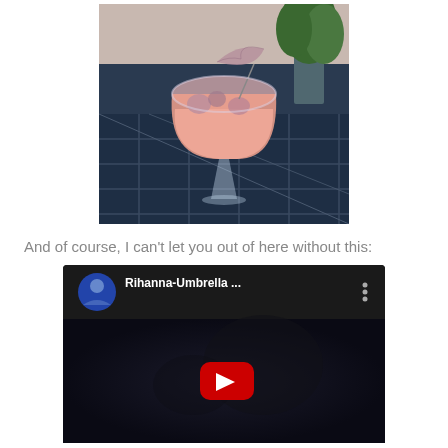[Figure (photo): A pink cocktail in a stemless wine glass with ice and a decorative paper umbrella garnish, placed on a dark blue tiled surface with a plant in the background]
And of course, I can't let you out of here without this:
[Figure (screenshot): YouTube video thumbnail showing 'Rihanna-Umbrella ...' with a man in a blue shirt as the channel avatar, dark background with a red play button]